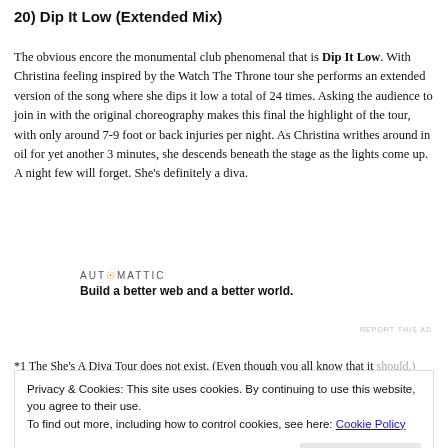20) Dip It Low (Extended Mix)
The obvious encore the monumental club phenomenal that is Dip It Low. With Christina feeling inspired by the Watch The Throne tour she performs an extended version of the song where she dips it low a total of 24 times. Asking the audience to join in with the original choreography makes this final the highlight of the tour, with only around 7-9 foot or back injuries per night. As Christina writhes around in oil for yet another 3 minutes, she descends beneath the stage as the lights come up. A night few will forget. She’s definitely a diva.
[Figure (other): Automattic advertisement: AUTOMATTIC logo with tagline 'Build a better web and a better world.']
*1 The She’s A Diva Tour does not exist. (Even though you all know that it should.)
Privacy & Cookies: This site uses cookies. By continuing to use this website, you agree to their use. To find out more, including how to control cookies, see here: Cookie Policy